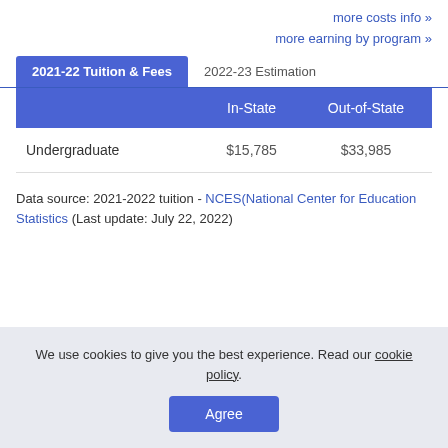more costs info »
more earning by program »
|  | In-State | Out-of-State |
| --- | --- | --- |
| Undergraduate | $15,785 | $33,985 |
Data source: 2021-2022 tuition - NCES(National Center for Education Statistics (Last update: July 22, 2022)
We use cookies to give you the best experience. Read our cookie policy.